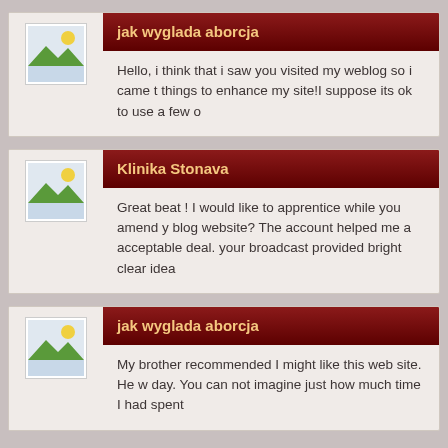jak wyglada aborcja
Hello, i think that i saw you visited my weblog so i came t things to enhance my site!I suppose its ok to use a few o
Klinika Stonava
Great beat ! I would like to apprentice while you amend y blog website? The account helped me a acceptable deal. your broadcast provided bright clear idea
jak wyglada aborcja
My brother recommended I might like this web site. He w day. You can not imagine just how much time I had spent